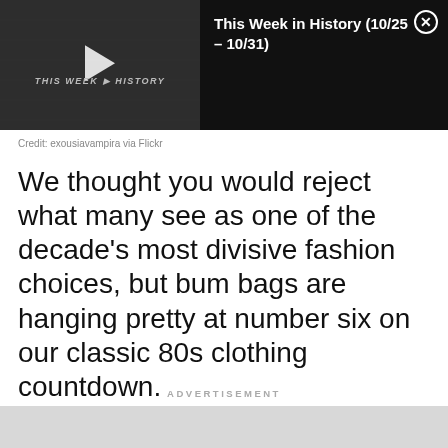[Figure (screenshot): Video thumbnail showing 'THIS WEEK IN HISTORY' text with a play button on a dark background, alongside title 'This Week in History (10/25 – 10/31)' and a close button]
Credit: exousiavampira via Flickr
We thought you would reject what many see as one of the decade's most divisive fashion choices, but bum bags are hanging pretty at number six on our classic 80s clothing countdown.
ADVERTISEMENT